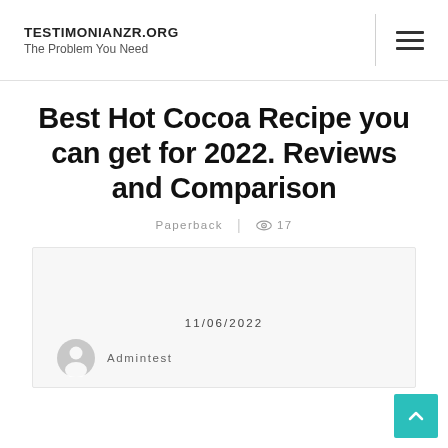TESTIMONIANZR.ORG
The Problem You Need
Best Hot Cocoa Recipe you can get for 2022. Reviews and Comparison
Paperback | 👁 17
11/06/2022
Admintest